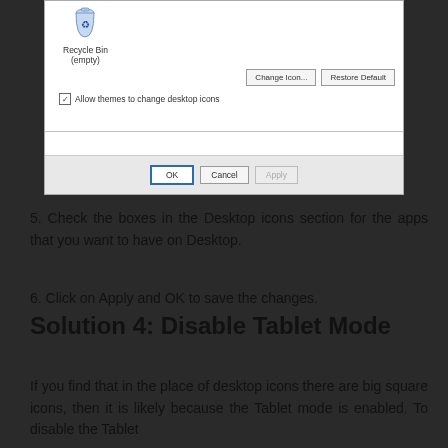[Figure (screenshot): Windows Desktop Icon Settings dialog showing Recycle Bin (empty) icon, Change Icon and Restore Default buttons, Allow themes to change desktop icons checkbox, and OK/Cancel/Apply buttons at the bottom.]
5. Check the boxes in the Desktop icons section for the apps that you want to have on Desktop.
6. Click on Apply and OK to save the changes.
Solution 4: Disable Tablet Mode
If you find that in the place of desktop icons there are big square icons, then it is likely because the Tablet mode is enabled. To disable the Tablet